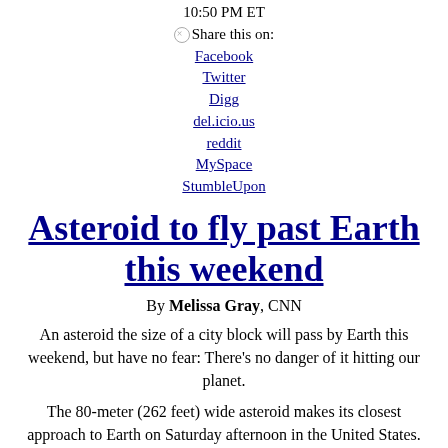10:50 PM ET
Share this on: Facebook Twitter Digg del.icio.us reddit MySpace StumbleUpon
Asteroid to fly past Earth this weekend
By Melissa Gray, CNN
An asteroid the size of a city block will pass by Earth this weekend, but have no fear: There's no danger of it hitting our planet.
The 80-meter (262 feet) wide asteroid makes its closest approach to Earth on Saturday afternoon in the United States. It will be about 975,000 kilometers (604,500 miles) away, said Don Yeomans, a planetary scientist at NASA's Jet Propulsion